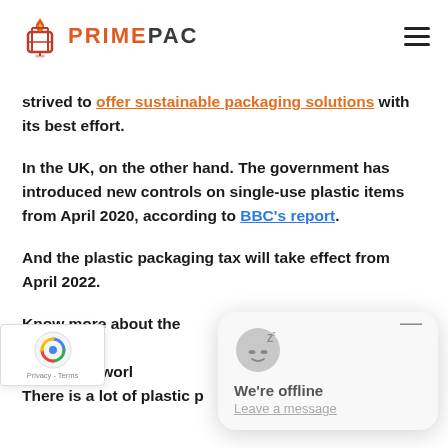PRIMEPAC
strived to offer sustainable packaging solutions with its best effort.
In the UK, on the other hand. The government has introduced new controls on single-use plastic items from April 2020, according to BBC's report.
And the plastic packaging tax will take effect from April 2022.
Know more about the [situation of world UK] There is a lot of plastic p[...]
[Figure (screenshot): Live chat widget showing offline status with sleeping emoji avatar and 'We're offline / Leave a message' message]
[Figure (logo): Google reCAPTCHA badge with Privacy - Terms text]